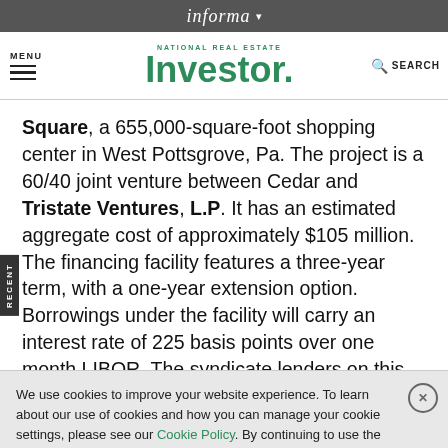informa
MENU | National Real Estate Investor | SEARCH
Square, a 655,000-square-foot shopping center in West Pottsgrove, Pa. The project is a 60/40 joint venture between Cedar and Tristate Ventures, L.P. It has an estimated aggregate cost of approximately $105 million. The financing facility features a three-year term, with a one-year extension option. Borrowings under the facility will carry an interest rate of 225 basis points over one month LIBOR. The syndicate lenders on this credit facility include M&T Bank, Key Bank National Association, Harleysville National Bank and Trust
We use cookies to improve your website experience. To learn about our use of cookies and how you can manage your cookie settings, please see our Cookie Policy. By continuing to use the website, you consent to our use of cookies.